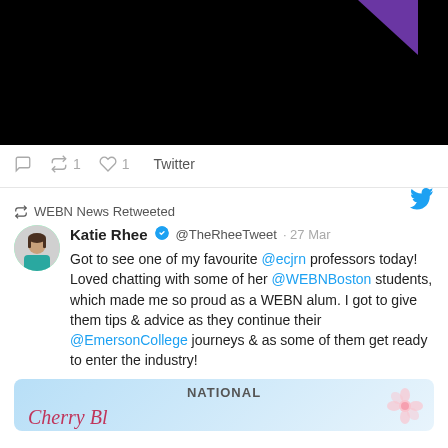[Figure (screenshot): Dark video thumbnail with purple triangle visible in upper right corner]
1  1  Twitter
WEBN News Retweeted
Katie Rhee @TheRheeTweet · 27 Mar
Got to see one of my favourite @ecjrn professors today! Loved chatting with some of her @WEBNBoston students, which made me so proud as a WEBN alum. I got to give them tips & advice as they continue their @EmersonCollege journeys & as some of them get ready to enter the industry!
[Figure (photo): Bottom portion of National Cherry Blossom image]